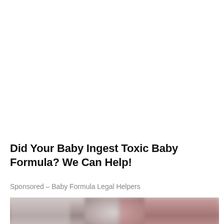Did Your Baby Ingest Toxic Baby Formula? We Can Help!
Sponsored – Baby Formula Legal Helpers
[Figure (photo): Blurred/muted photo of a man's face in a sports stadium crowd setting with red background elements]